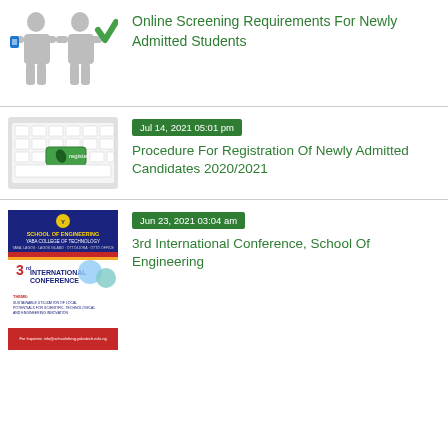[Figure (illustration): Two gray figures: one holding a blue document, the other with a green checkmark. Screening/admission illustration.]
Online Screening Requirements For Newly Admitted Students
[Figure (photo): Keyboard with a green 'register' key highlighted.]
Jul 14, 2021 05:01 pm
Procedure For Registration Of Newly Admitted Candidates 2020/2021
[Figure (photo): Conference poster for 3rd International Conference, School of Engineering, Yaba College of Technology.]
Jun 23, 2021 03:04 am
3rd International Conference, School Of Engineering